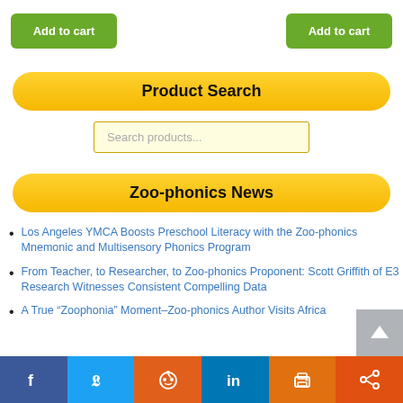[Figure (screenshot): Two green 'Add to cart' buttons side by side at the top of the page]
Product Search
[Figure (screenshot): Search input box with placeholder text 'Search products...']
Zoo-phonics News
Los Angeles YMCA Boosts Preschool Literacy with the Zoo-phonics Mnemonic and Multisensory Phonics Program
From Teacher, to Researcher, to Zoo-phonics Proponent: Scott Griffith of E3 Research Witnesses Consistent Compelling Data
A True “Zoophonia” Moment–Zoo-phonics Author Visits Africa
Social sharing bar: Facebook, Twitter, Reddit, LinkedIn, Print, Share